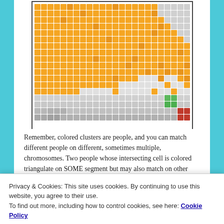[Figure (other): A chromosome triangulation matrix grid showing colored square cells. Orange cells form a large triangular cluster in the upper-left region, with darker orange scattered throughout. Green cells form a 2x2 cluster in the lower-right area. Red cells form a 2x2 cluster at the far lower-right. Remaining cells are various shades of gray indicating no triangulation.]
Remember, colored clusters are people, and you can match different people on different, sometimes multiple, chromosomes. Two people whose intersecting cell is colored triangulate on SOME segment but may also match on other segments that don't triangulate with each
Privacy & Cookies: This site uses cookies. By continuing to use this website, you agree to their use.
To find out more, including how to control cookies, see here: Cookie Policy
67 segments from all my matches